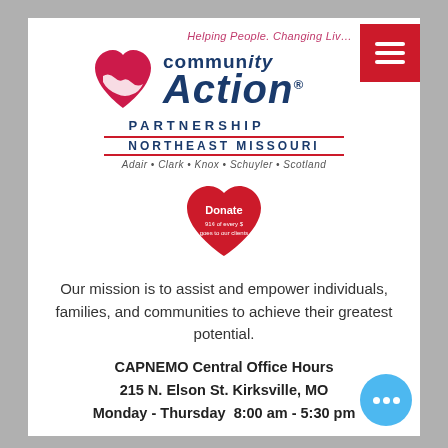[Figure (logo): Community Action Partnership Northeast Missouri logo with heart graphic, tagline 'Helping People. Changing Lives.', counties listed: Adair, Clark, Knox, Schuyler, Scotland, and a red hamburger menu button]
[Figure (logo): Red heart Donate button with text 'Donate - 91¢ of every $ goes to our clients']
Our mission is to assist and empower individuals, families, and communities to achieve their greatest potential.
CAPNEMO Central Office Hours 215 N. Elson St. Kirksville, MO Monday - Thursday  8:00 am - 5:30 pm